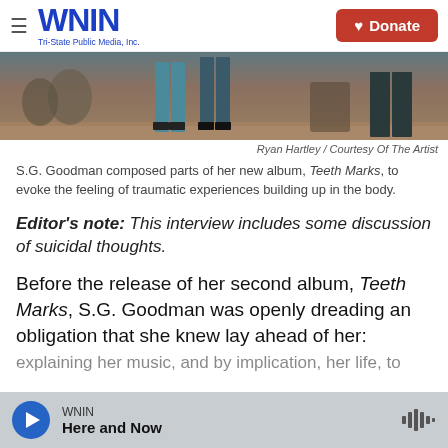WNIN Tri-State Public Media, Inc. — Donate
[Figure (photo): Partial view of people standing in a rustic outdoor setting with debris on the ground]
Ryan Hartley / Courtesy Of The Artist
S.G. Goodman composed parts of her new album, Teeth Marks, to evoke the feeling of traumatic experiences building up in the body.
Editor's note: This interview includes some discussion of suicidal thoughts.
Before the release of her second album, Teeth Marks, S.G. Goodman was openly dreading an obligation that she knew lay ahead of her: explaining her music, and by implication, her life, to
WNIN — Here and Now